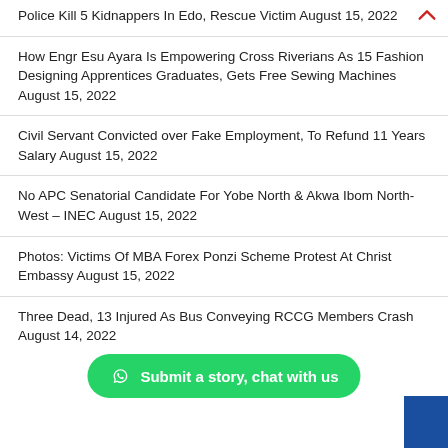Police Kill 5 Kidnappers In Edo, Rescue Victim August 15, 2022
How Engr Esu Ayara Is Empowering Cross Riverians As 15 Fashion Designing Apprentices Graduates, Gets Free Sewing Machines August 15, 2022
Civil Servant Convicted over Fake Employment, To Refund 11 Years Salary August 15, 2022
No APC Senatorial Candidate For Yobe North & Akwa Ibom North-West – INEC August 15, 2022
Photos: Victims Of MBA Forex Ponzi Scheme Protest At Christ Embassy August 15, 2022
Three Dead, 13 Injured As Bus Conveying RCCG Members Crash August 14, 2022